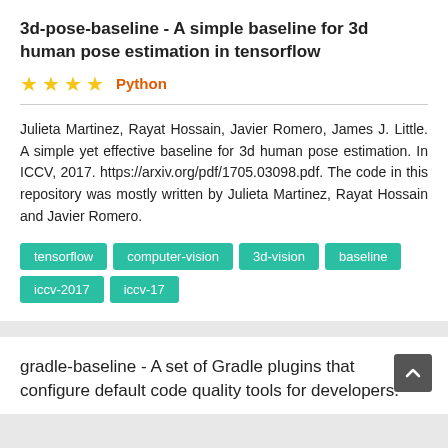3d-pose-baseline - A simple baseline for 3d human pose estimation in tensorflow
★★★★  Python
Julieta Martinez, Rayat Hossain, Javier Romero, James J. Little. A simple yet effective baseline for 3d human pose estimation. In ICCV, 2017. https://arxiv.org/pdf/1705.03098.pdf. The code in this repository was mostly written by Julieta Martinez, Rayat Hossain and Javier Romero.
tensorflow
computer-vision
3d-vision
baseline
iccv-2017
iccv-17
gradle-baseline - A set of Gradle plugins that configure default code quality tools for developers.